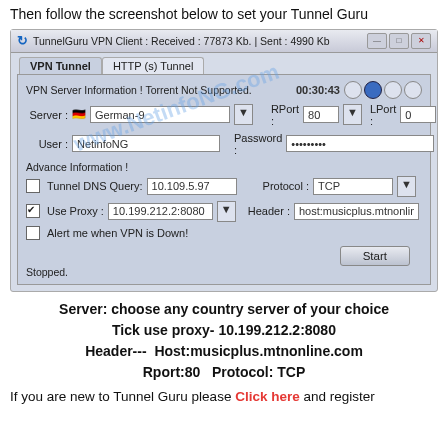Then follow the screenshot below to set your Tunnel Guru
[Figure (screenshot): TunnelGuru VPN Client screenshot showing VPN Tunnel tab with settings: Server German-9, User NetinfoNG, RPort 80, LPort 0, Password hidden, Tunnel DNS Query 10.109.5.97, Use Proxy checked with 10.199.212.2:8080, Protocol TCP, Header host:musicplus.mtnonline.com, status Stopped]
Server: choose any country server of your choice
Tick use proxy- 10.199.212.2:8080
Header---  Host:musicplus.mtnonline.com
Rport:80   Protocol: TCP
If you are new to Tunnel Guru please Click here and register